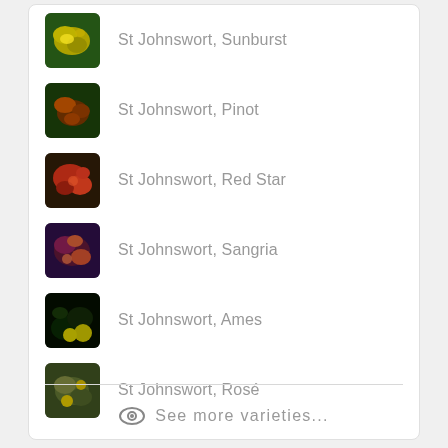St Johnswort, Sunburst
St Johnswort, Pinot
St Johnswort, Red Star
St Johnswort, Sangria
St Johnswort, Ames
St Johnswort, Rosé
See more varieties...